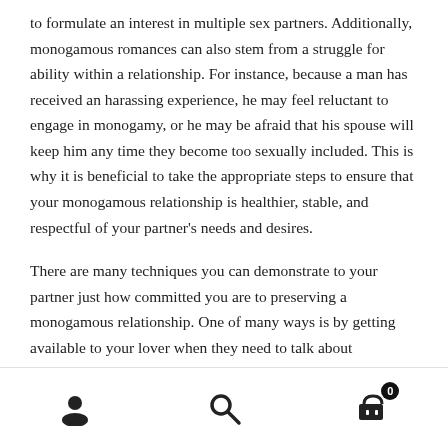to formulate an interest in multiple sex partners. Additionally, monogamous romances can also stem from a struggle for ability within a relationship. For instance, because a man has received an harassing experience, he may feel reluctant to engage in monogamy, or he may be afraid that his spouse will keep him any time they become too sexually included. This is why it is beneficial to take the appropriate steps to ensure that your monogamous relationship is healthier, stable, and respectful of your partner's needs and desires.
There are many techniques you can demonstrate to your partner just how committed you are to preserving a monogamous relationship. One of many ways is by getting available to your lover when they need to talk about
[user icon] [search icon] [cart icon with badge 0]